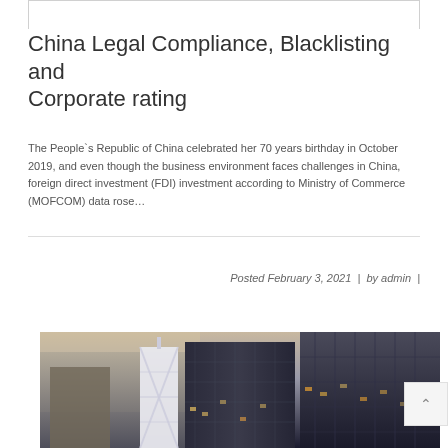China Legal Compliance, Blacklisting and Corporate rating
The People`s Republic of China celebrated her 70 years birthday in October 2019, and even though the business environment faces challenges in China, foreign direct investment (FDI) investment according to Ministry of Commerce (MOFCOM) data rose...
Posted February 3, 2021  |  by admin  |
[Figure (photo): Aerial night view of Hong Kong skyscrapers and city buildings including the distinctive Bank of China Tower with X-pattern facade]